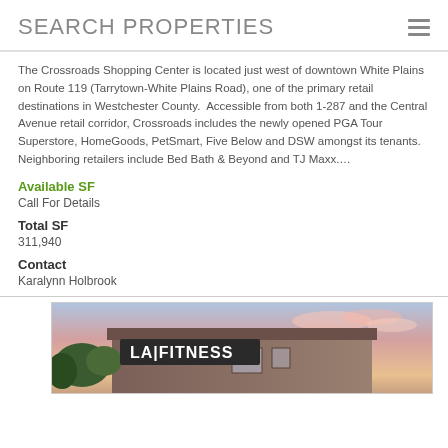SEARCH PROPERTIES
The Crossroads Shopping Center is located just west of downtown White Plains on Route 119 (Tarrytown-White Plains Road), one of the primary retail destinations in Westchester County.  Accessible from both 1-287 and the Central Avenue retail corridor, Crossroads includes the newly opened PGA Tour Superstore, HomeGoods, PetSmart, Five Below and DSW amongst its tenants.  Neighboring retailers include Bed Bath & Beyond and TJ Maxx....
Available SF
Call For Details
Total SF
311,940
Contact
Karalynn Holbrook
[Figure (photo): Exterior photo of an LA Fitness building at dusk/sunset with trees in foreground and colorful sky in background. The LA FITNESS sign is prominently displayed on the building facade.]